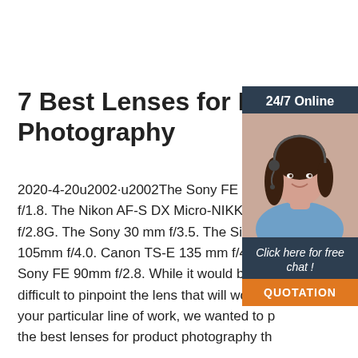7 Best Lenses for Product Photography
2020-4-20u2002·u2002The Sony FE 50 mm f/1.8. The Nikon AF-S DX Micro-NIKKOR 40mm f/2.8G. The Sony 30 mm f/3.5. The Sigma 105mm f/4.0. Canon TS-E 135 mm f/4L. T Sony FE 90mm f/2.8. While it would be inc difficult to pinpoint the lens that will work b your particular line of work, we wanted to the best lenses for product photography th
[Figure (photo): Customer support agent woman with headset, overlaid with 24/7 Online banner, Click here for free chat! text, and QUOTATION button on dark navy sidebar]
Get Price